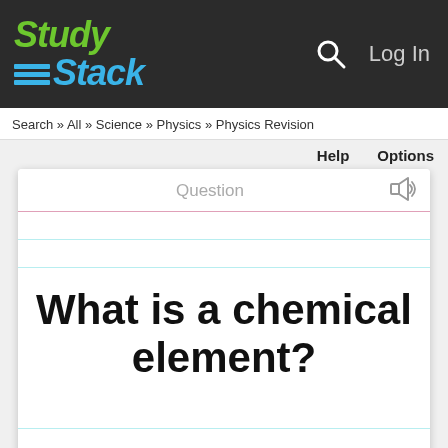StudyStack — Log In
Search » All » Science » Physics » Physics Revision
Help   Options
Question
What is a chemical element?
tap to flip